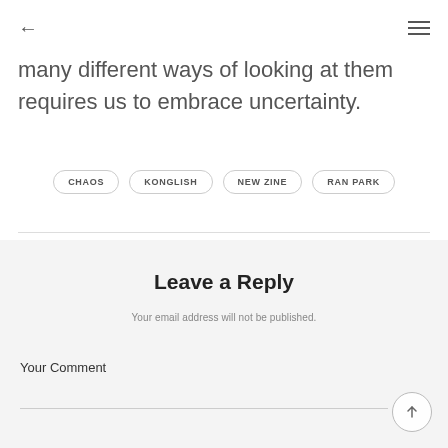← ≡
many different ways of looking at them requires us to embrace uncertainty.
CHAOS
KONGLISH
NEW ZINE
RAN PARK
Leave a Reply
Your email address will not be published.
Your Comment